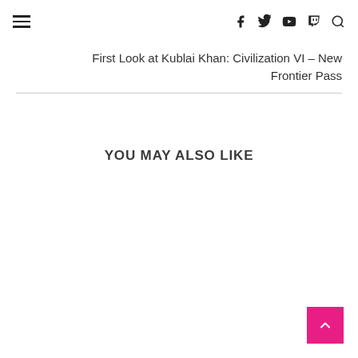≡  [facebook] [twitter] [youtube] [twitch] [search]
First Look at Kublai Khan: Civilization VI – New Frontier Pass
YOU MAY ALSO LIKE